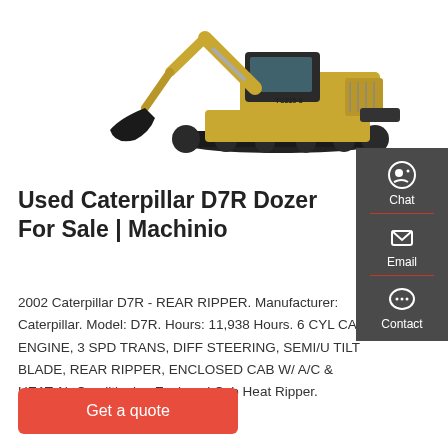[Figure (photo): Yellow Caterpillar excavator (track hoe) shown in profile on white background]
[Figure (infographic): Dark grey sidebar with Chat, Email, and Contact icons]
Used Caterpillar D7R Dozer For Sale | Machinio
2002 Caterpillar D7R - REAR RIPPER. Manufacturer: Caterpillar. Model: D7R. Hours: 11,938 Hours. 6 CYL CAT ENGINE, 3 SPD TRANS, DIFF STEERING, SEMI/U TILT BLADE, REAR RIPPER, ENCLOSED CAB W/ A/C & HEAT Air Conditioning Enclosed Cab Heat Ripper. $89,500.
Get a quote